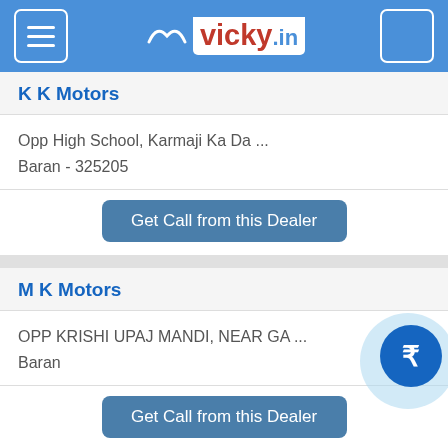vicky.in
K K Motors
Opp High School, Karmaji Ka Da ...
Baran - 325205
Get Call from this Dealer
M K Motors
OPP KRISHI UPAJ MANDI, NEAR GA ...
Baran
Get Call from this Dealer
Speed Link Auto